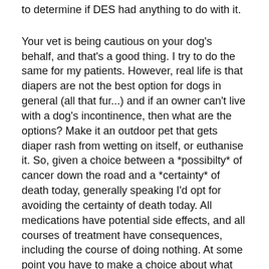to determine if DES had anything to do with it.
Your vet is being cautious on your dog's behalf, and that's a good thing. I try to do the same for my patients. However, real life is that diapers are not the best option for dogs in general (all that fur...) and if an owner can't live with a dog's incontinence, then what are the options? Make it an outdoor pet that gets diaper rash from wetting on itself, or euthanise it. So, given a choice between a *possibilty* of cancer down the road and a *certainty* of death today, generally speaking I'd opt for avoiding the certainty of death today. All medications have potential side effects, and all courses of treatment have consequences, including the course of doing nothing. At some point you have to make a choice about what consequences you most prefer. For me - and I'm saying this is ME, and not that everyone else should do the same - living with dog urine in my bed all the time is not an option. Nor is diapering my dog, not because of the inconveneince, but because I don't think it works that well to control leaks, and because of the diaper rash issues to the skin (and believe me, these can be horrendous.) This does not even consider the internal rashing they can have from urine